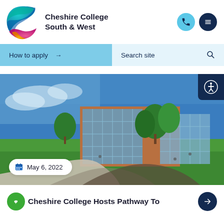[Figure (logo): Cheshire College South & West logo — a swirling 'C' shape with teal, blue, pink, and orange/yellow gradients]
Cheshire College
South & West
How to apply →
Search site 🔍
[Figure (photo): Exterior photo of Cheshire College campus building: a modern brick and glass structure under a blue sky, with green lawns and students relaxing outside. A curved pathway leads toward the building.]
May 6, 2022
Cheshire College Hosts Pathway To